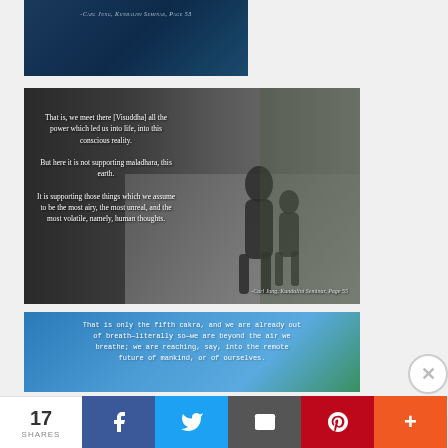[Figure (illustration): Dark blue quote card with small-caps italic text citing Carl Jung, Kundalini Seminar, Page 53]
[Figure (photo): Black and white photograph of two children walking on a path with arms around each other, overlaid with white text quote from Carl Jung about Visuddha and the power which led us into conscious reality. Attribution: -Carl Jung, Kundalini Seminar, Page 55]
[Figure (illustration): Blue gradient image with white monospace text: 'That is only the fifth cakra, and we are already out of breath—literally so—we are beyond the air we breathe; we are reaching, say, into the remote future of mankind, or of ourselves.']
Advertisements
[Figure (photo): Advertisement strip showing partial face images]
17 SHARES
[Figure (infographic): Social share bar with Facebook, Twitter, Email, Pinterest, and More buttons]